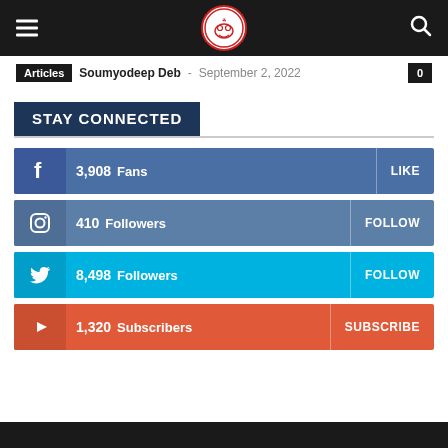Navigation bar with hamburger menu, logo, and search icon
Articles  Soumyodeep Deb - September 2, 2022  0
STAY CONNECTED
3,908 Fans  LIKE
410 Followers  FOLLOW
8,498 Followers  FOLLOW
1,320 Subscribers  SUBSCRIBE